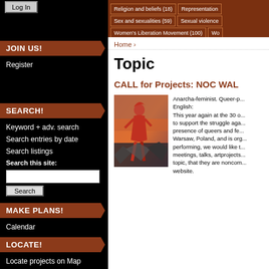[Figure (screenshot): Website navigation sidebar and content page showing feminist/queer project listing]
Log In
JOIN US!
Register
SEARCH!
Keyword + adv. search
Search entries by date
Search listings
Search this site:
MAKE PLANS!
Calendar
LOCATE!
Locate projects on Map
Religion and beliefs (18)
Representation
Sex and sexualities (59)
Sexual violence
Women's Liberation Movement (100)
Wo
Home
Topic
CALL for Projects: NOC WAL
Anarcha-feminist. Queer-p... English:
This year again at the 30 o... to support the struggle aga... presence of queers and fe... Warsaw, Poland, and is org... performing, we would like t... meetings, talks, artprojects... topic, that they are noncom... website.